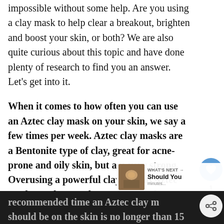impossible without some help. Are you using a clay mask to help clear a breakout, brighten and boost your skin, or both? We are also quite curious about this topic and have done plenty of research to find you an answer. Let's get into it.
When it comes to how often you can use an Aztec clay mask on your skin, we say a few times per week. Aztec clay masks are a Bentonite type of clay, great for acne-prone and oily skin, but are very strong. Overusing a powerful clay like an Aztec mask can do more harm than good, so keeping it to a minimum is ideal. Th recommended time an Aztec clay m should be on the skin is no longer than 15